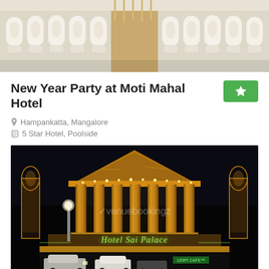[Figure (photo): Top portion of a banquet hall with white chair covers arranged in rows, aisle in center, warm wood floor visible]
New Year Party at Moti Mahal Hotel
Hampankatta, Mangalore
5 Star Hotel, Poolside
[Figure (photo): Night photo of Hotel Sai Palace facade with illuminated columns, golden lighting, green neon sign reading Hotel Sai Palace, watermark reading venuebookingz, cars parked in front]